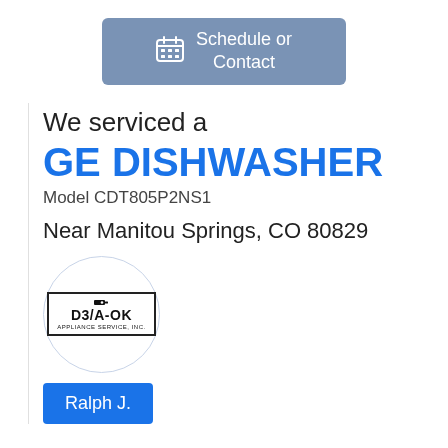[Figure (other): Schedule or Contact button with calendar icon, blue-grey rounded rectangle]
We serviced a
GE DISHWASHER
Model CDT805P2NS1
Near Manitou Springs, CO 80829
[Figure (logo): D3/A-OK Appliance Service Inc logo inside a circle]
Ralph J.